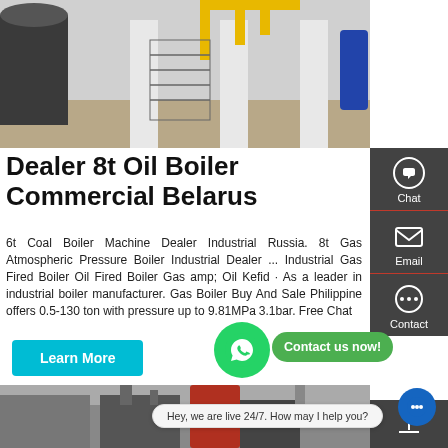[Figure (photo): Industrial boiler room with large cylindrical boilers, yellow pipes overhead, white columns, and metal staircases in a factory setting]
Dealer 8t Oil Boiler Commercial Belarus
6t Coal Boiler Machine Dealer Industrial Russia. 8t Gas Atmospheric Pressure Boiler Industrial Dealer ... Industrial Gas Fired Boiler Oil Fired Boiler Gas amp; Oil Kefid · As a leader in industrial boiler manufacturer. Gas Boiler Buy And Sale Philippine offers 0.5-130 ton with pressure up to 9.81MPa 3.1bar. Free Chat
Learn More
[Figure (photo): Industrial boiler equipment in a facility, showing red cylindrical boiler and machinery]
Hey, we are live 24/7. How may I help you?